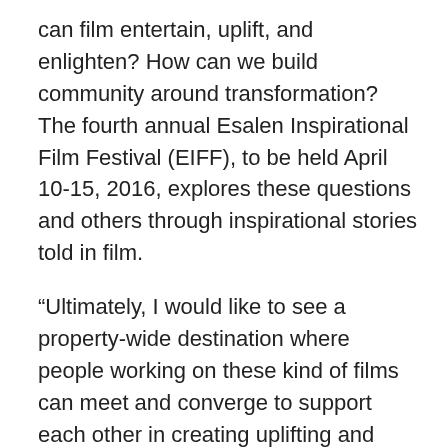can film entertain, uplift, and enlighten? How can we build community around transformation? The fourth annual Esalen Inspirational Film Festival (EIFF), to be held April 10-15, 2016, explores these questions and others through inspirational stories told in film.
“Ultimately, I would like to see a property-wide destination where people working on these kind of films can meet and converge to support each other in creating uplifting and meaningful cinema,” said Corinne Bourdeau, one of the creative forces behind the festival. As president and founder of 360 Degree Communications, Corinne supports films that enrich the human spirit through social change. Her previous projects have included